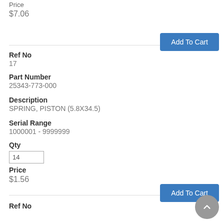Price
$7.06
Add To Cart
Ref No
17
Part Number
25343-773-000
Description
SPRING, PISTON (5.8X34.5)
Serial Range
1000001 - 9999999
Qty
14
Price
$1.56
Add To Cart
Ref No